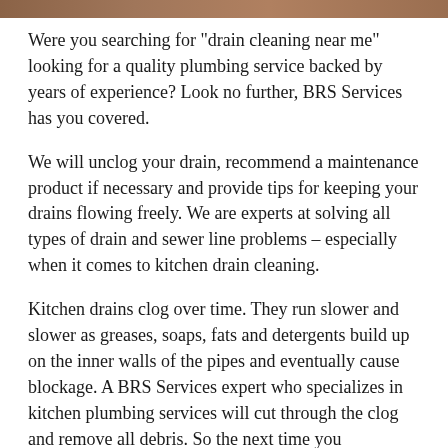[Figure (photo): Top portion of a photo showing a brownish/tan surface, partially cropped at the top of the page.]
Were you searching for "drain cleaning near me" looking for a quality plumbing service backed by years of experience? Look no further, BRS Services has you covered.
We will unclog your drain, recommend a maintenance product if necessary and provide tips for keeping your drains flowing freely. We are experts at solving all types of drain and sewer line problems – especially when it comes to kitchen drain cleaning.
Kitchen drains clog over time. They run slower and slower as greases, soaps, fats and detergents build up on the inner walls of the pipes and eventually cause blockage. A BRS Services expert who specializes in kitchen plumbing services will cut through the clog and remove all debris. So the next time you experience a clogged kitchen drain, you know who to call.
BRS Services is also able to assist you with bathroom drain cleaning. From showers and tubs clogged with hair and soap